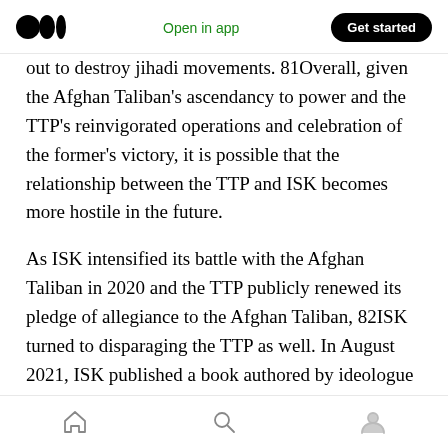Medium logo | Open in app | Get started
out to destroy jihadi movements. 81Overall, given the Afghan Taliban's ascendancy to power and the TTP's reinvigorated operations and celebration of the former's victory, it is possible that the relationship between the TTP and ISK becomes more hostile in the future.
As ISK intensified its battle with the Afghan Taliban in 2020 and the TTP publicly renewed its pledge of allegiance to the Afghan Taliban, 82ISK turned to disparaging the TTP as well. In August 2021, ISK published a book authored by ideologue Abu Saad Muhammad al-Khurasani in
Home | Search | Profile